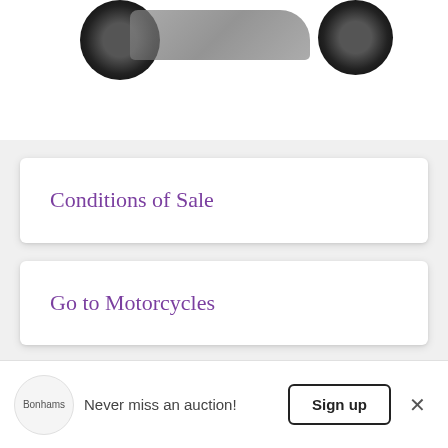[Figure (photo): Partial view of motorcycles showing dark wheels and body, cropped at the top of the page]
Conditions of Sale
Go to Motorcycles
Bonhams  Never miss an auction!  Sign up  ×